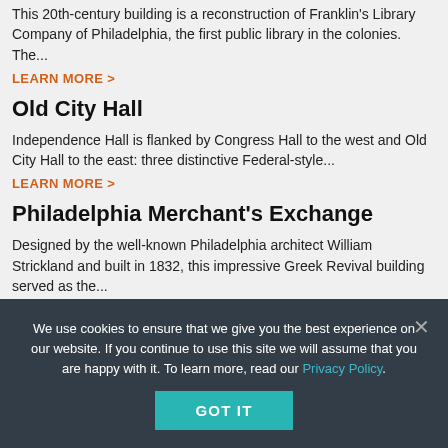This 20th-century building is a reconstruction of Franklin's Library Company of Philadelphia, the first public library in the colonies. The...
LEARN MORE >
Old City Hall
Independence Hall is flanked by Congress Hall to the west and Old City Hall to the east: three distinctive Federal-style...
LEARN MORE >
Philadelphia Merchant's Exchange
Designed by the well-known Philadelphia architect William Strickland and built in 1832, this impressive Greek Revival building served as the...
LEARN MORE >
Todd House
Built in 1775 by John Pike, the Todd House has been an attraction to it...
We use cookies to ensure that we give you the best experience on our website. If you continue to use this site we will assume that you are happy with it. To learn more, read our Privacy Policy.